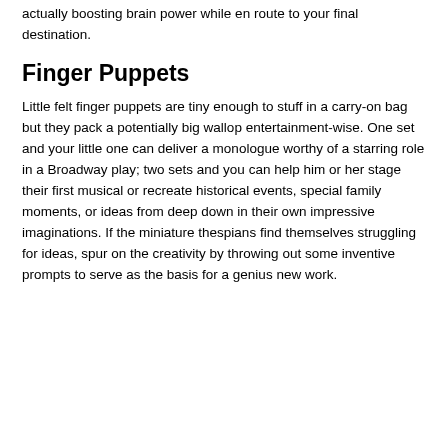actually boosting brain power while en route to your final destination.
Finger Puppets
Little felt finger puppets are tiny enough to stuff in a carry-on bag but they pack a potentially big wallop entertainment-wise. One set and your little one can deliver a monologue worthy of a starring role in a Broadway play; two sets and you can help him or her stage their first musical or recreate historical events, special family moments, or ideas from deep down in their own impressive imaginations. If the miniature thespians find themselves struggling for ideas, spur on the creativity by throwing out some inventive prompts to serve as the basis for a genius new work.